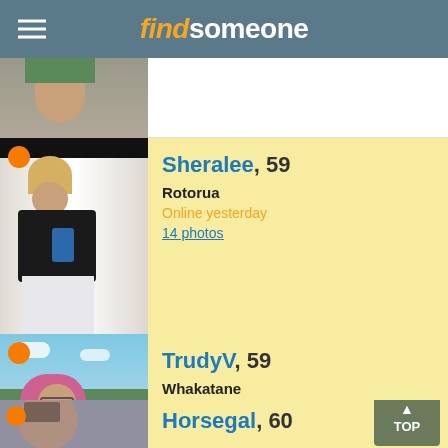find someone
[Figure (photo): Partial profile photo at top - cropped person]
[Figure (photo): Profile photo of Sheralee, 59 - woman in black top and white pants taking mirror selfie]
Sheralee, 59
Rotorua
Online yesterday
14 photos
[Figure (photo): Profile photo of TrudyV, 59 - woman with pink hair outdoors]
TrudyV, 59
Whakatane
Online in last 6 hours
[Figure (photo): Partial profile photo of Horsegal, 60 - woman with glasses]
Horsegal, 60
Tauranga
Online yesterday
5 photos